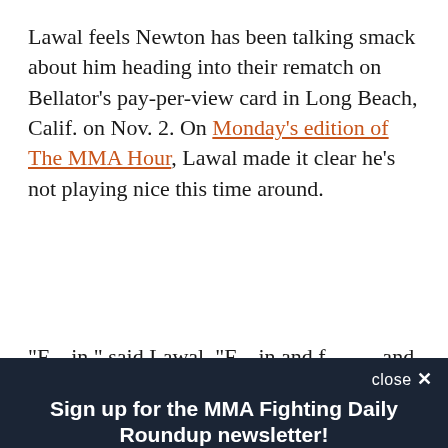Lawal feels Newton has been talking smack about him heading into their rematch on Bellator's pay-per-view card in Long Beach, Calif. on Nov. 2. On Monday's edition of The MMA Hour, Lawal made it clear he's not playing nice this time around.
"F---in," said Lawal. "F---in and f------- and that...
close ×
Sign up for the MMA Fighting Daily Roundup newsletter!
A daily roundup of all your fighting news from MMA Fighting
Email (required)
SUBSCRIBE
By submitting your email, you agree to our Terms and Privacy Notice. You can opt out at any time. This site is protected by reCAPTCHA and the Google Privacy Policy and Terms of Service apply.